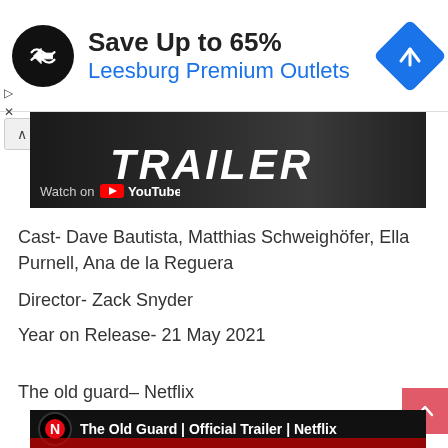[Figure (screenshot): Advertisement banner: Save Up to 65% Leesburg Premium Outlets with circular black logo and blue diamond navigation icon]
[Figure (screenshot): YouTube video thumbnail showing TRAILER text with Watch on YouTube overlay]
Cast- Dave Bautista, Matthias Schweighöfer, Ella Purnell, Ana de la Reguera
Director- Zack Snyder
Year on Release- 21 May 2021
The old guard– Netflix
[Figure (screenshot): Netflix video thumbnail: The Old Guard | Official Trailer | Netflix]